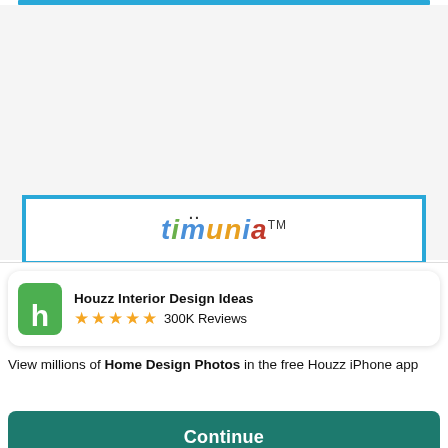[Figure (screenshot): Top blue progress/navigation bar at the top of a mobile browser]
[Figure (logo): Timunia logo in colorful bubble letters with trademark symbol inside a blue-bordered frame]
Houzz Interior Design Ideas
★★★★★ 300K Reviews
View millions of Home Design Photos in the free Houzz iPhone app
Continue
Go to Mobile Site